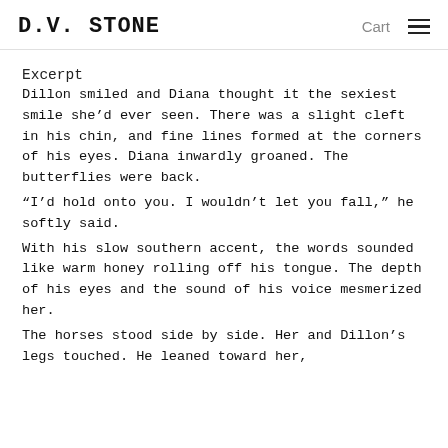D.V. STONE   Cart  ☰
Excerpt
Dillon smiled and Diana thought it the sexiest smile she'd ever seen. There was a slight cleft in his chin, and fine lines formed at the corners of his eyes. Diana inwardly groaned. The butterflies were back.
“I’d hold onto you. I wouldn’t let you fall,” he softly said.
With his slow southern accent, the words sounded like warm honey rolling off his tongue. The depth of his eyes and the sound of his voice mesmerized her.
The horses stood side by side. Her and Dillon’s legs touched. He leaned toward her,